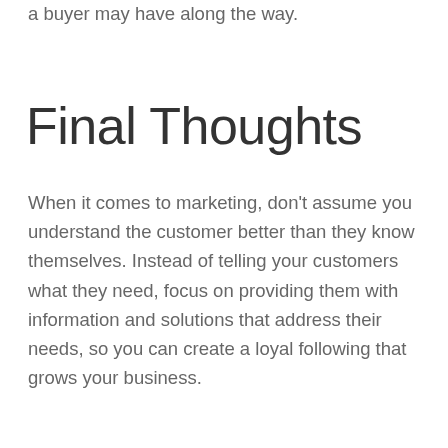a buyer may have along the way.
Final Thoughts
When it comes to marketing, don't assume you understand the customer better than they know themselves. Instead of telling your customers what they need, focus on providing them with information and solutions that address their needs, so you can create a loyal following that grows your business.